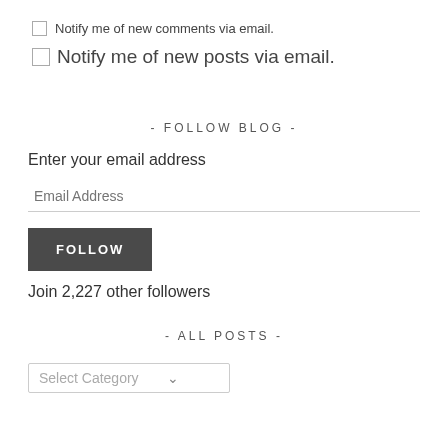Notify me of new comments via email.
Notify me of new posts via email.
- FOLLOW BLOG -
Enter your email address
Email Address
FOLLOW
Join 2,227 other followers
- ALL POSTS -
Select Category